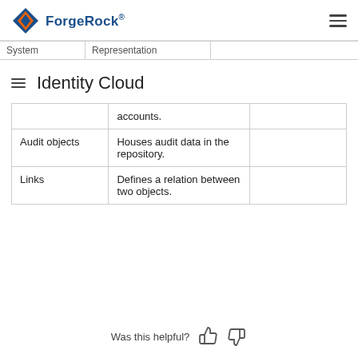ForgeRock
Identity Cloud
| System | Representation |  |
| --- | --- | --- |
|  | accounts. |  |
| Audit objects | Houses audit data in the repository. |  |
| Links | Defines a relation between two objects. |  |
Was this helpful?